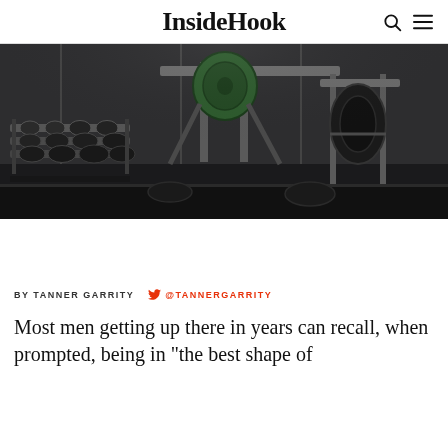InsideHook
[Figure (photo): Interior of a gym showing dumbbells on a rack and weight equipment including barbells and a weight rack, in dark moody lighting]
BY TANNER GARRITY   🐦 @TANNERGARRITY
Most men getting up there in years can recall, when prompted, being in “the best shape of